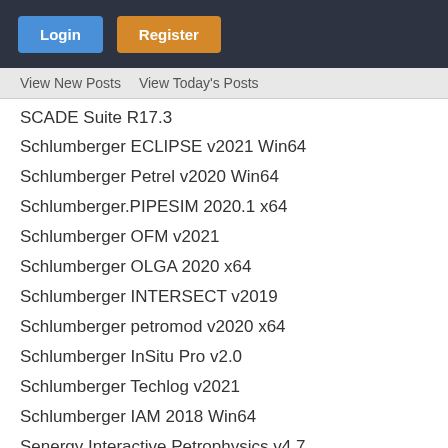[Figure (screenshot): Navigation header bar with Login (blue) and Register (orange) buttons on dark background]
View New Posts   View Today's Posts
SCADE Suite R17.3
Schlumberger ECLIPSE v2021 Win64
Schlumberger Petrel v2020 Win64
Schlumberger.PIPESIM 2020.1 x64
Schlumberger OFM v2021
Schlumberger OLGA 2020 x64
Schlumberger INTERSECT v2019
Schlumberger petromod v2020 x64
Schlumberger InSitu Pro v2.0
Schlumberger Techlog v2021
Schlumberger IAM 2018 Win64
Senergy Interactive Petrophysics v4.7
Secure Hydraulics v2011
SegdToolbox v1.2
sendra v2015.2
SES CDEGS v17
sheetworks V21
SeisMod 4 SIMO4.2